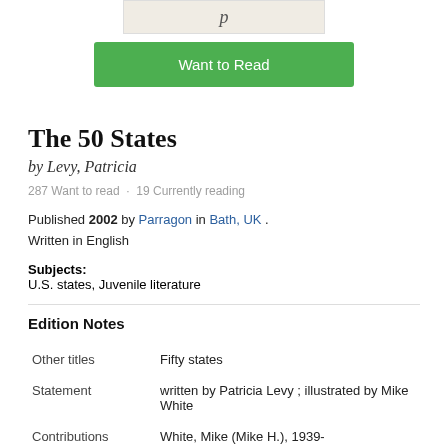[Figure (illustration): Top portion of a book cover showing the letter p in italic, partially visible]
Want to Read
The 50 States
by Levy, Patricia
287 Want to read · 19 Currently reading
Published 2002 by Parragon in Bath, UK . Written in English
Subjects: U.S. states, Juvenile literature
Edition Notes
| Other titles | Fifty states |
| Statement | written by Patricia Levy ; illustrated by Mike White |
| Contributions | White, Mike (Mike H.), 1939- |